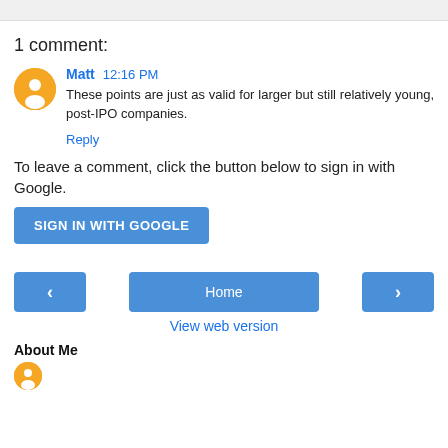1 comment:
Matt  12:16 PM
These points are just as valid for larger but still relatively young, post-IPO companies.
Reply
To leave a comment, click the button below to sign in with Google.
[Figure (other): Blue 'SIGN IN WITH GOOGLE' button]
[Figure (other): Navigation row with left arrow button, Home button, and right arrow button]
View web version
About Me
[Figure (other): Small orange avatar circle]